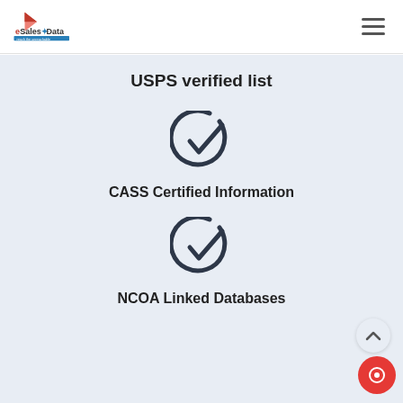[Figure (logo): eSalesData logo with tagline 'reach the unreachable']
[Figure (illustration): Hamburger menu icon (three horizontal lines)]
USPS verified list
[Figure (illustration): Checkmark circle icon]
CASS Certified Information
[Figure (illustration): Checkmark circle icon]
NCOA Linked Databases